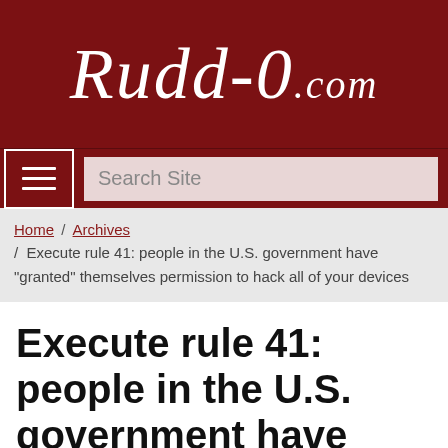Rudd-0.com
Search Site
Home / Archives / Execute rule 41: people in the U.S. government have "granted" themselves permission to hack all of your devices
Execute rule 41: people in the U.S. government have "granted" themselves permission to hack all of your devices
published Dec 02, 2016